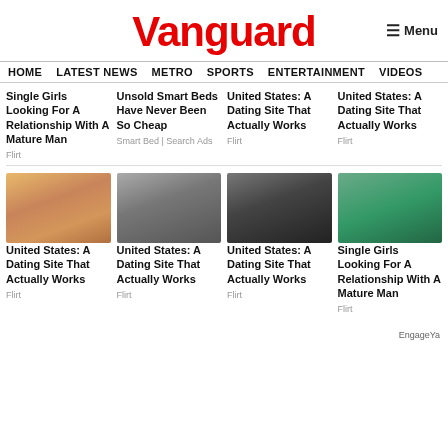Vanguard
HOME  LATEST NEWS  METRO  SPORTS  ENTERTAINMENT  VIDEOS
Single Girls Looking For A Relationship With A Mature Man
Flirt
Unsold Smart Beds Have Never Been So Cheap
Smart Bed | Search Ads
United States: A Dating Site That Actually Works
Flirt
United States: A Dating Site That Actually Works
Flirt
[Figure (photo): Blonde woman smiling, close-up portrait]
United States: A Dating Site That Actually Works
Flirt
[Figure (photo): Woman in dark outfit by fireplace]
United States: A Dating Site That Actually Works
Flirt
[Figure (photo): Dark-haired woman with flower in hair]
United States: A Dating Site That Actually Works
Flirt
[Figure (photo): Young woman by pool in red outfit]
Single Girls Looking For A Relationship With A Mature Man
Flirt
EngageYa